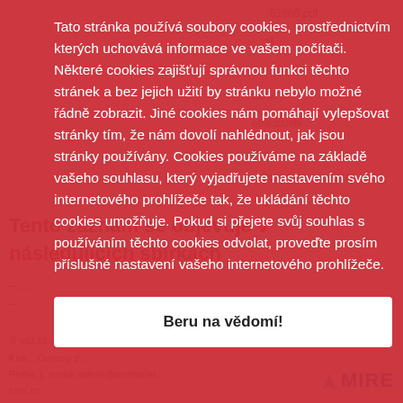Tato stránka používá soubory cookies, prostřednictvím kterých uchovává informace ve vašem počítači. Některé cookies zajišťují správnou funkci těchto stránek a bez jejich užití by stránku nebylo možné řádně zobrazit. Jiné cookies nám pomáhají vylepšovat stránky tím, že nám dovolí nahlédnout, jak jsou stránky používány. Cookies používáme na základě vašeho souhlasu, který vyjadřujete nastavením svého internetového prohlížeče tak, že ukládání těchto cookies umožňuje. Pokud si přejete svůj souhlas s používáním těchto cookies odvolat, proveďte prosím příslušné nastavení vašeho internetového prohlížeče.
Beru na vědomí!